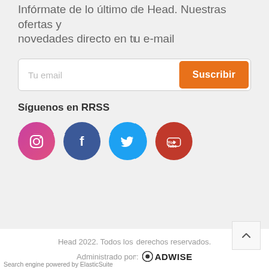Infórmate de lo último de Head. Nuestras ofertas y novedades directo en tu e-mail
Tu email / Suscribir
Síguenos en RRSS
[Figure (illustration): Four social media icon circles: Instagram (pink/magenta), Facebook (blue), Twitter (light blue), YouTube (red)]
Head 2022. Todos los derechos reservados.
Administrado por: ADWISE
Search engine powered by ElasticSuite